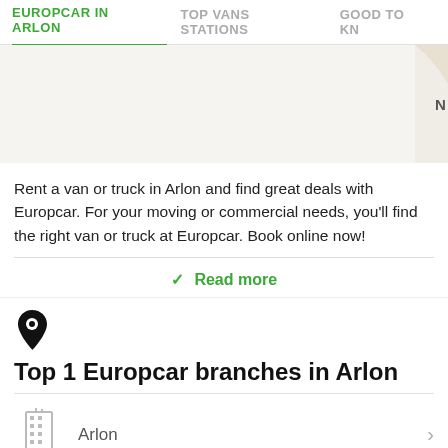EUROPCAR IN ARLON | TOP VANS STATIONS | GOOD TO KN
[Figure (map): Partial map view showing a roundabout with yellow road markings and grey surrounding area]
Rent a van or truck in Arlon and find great deals with Europcar. For your moving or commercial needs, you'll find the right van or truck at Europcar. Book online now!
Read more
Top 1 Europcar branches in Arlon
Arlon
You might also be interested by